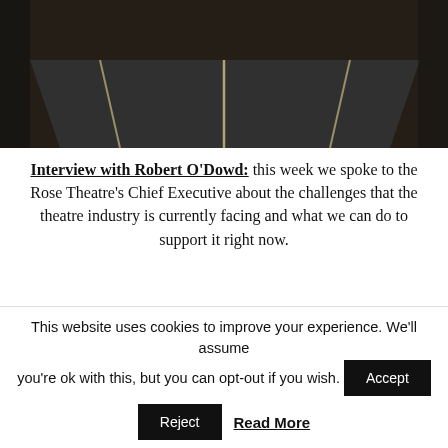[Figure (photo): Dark aerial or street-level photograph of a road with white lane markings, in black and white tones]
Interview with Robert O'Dowd: this week we spoke to the Rose Theatre's Chief Executive about the challenges that the theatre industry is currently facing and what we can do to support it right now.
Review of Going the Distance by Jonathan Antoine:
This website uses cookies to improve your experience. We'll assume you're ok with this, but you can opt-out if you wish. Accept Reject Read More